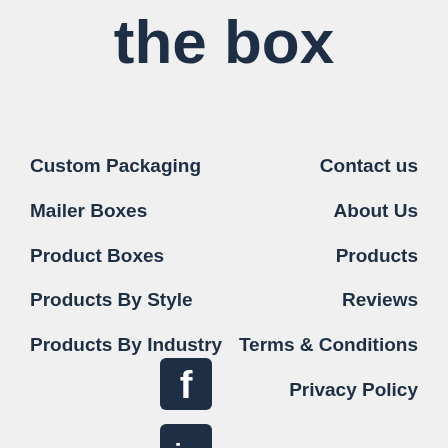the box
Custom Packaging
Contact us
Mailer Boxes
About Us
Product Boxes
Products
Products By Style
Reviews
Products By Industry
Terms & Conditions
Privacy Policy
[Figure (logo): Facebook icon (dark blue rounded square with white F)]
[Figure (logo): LinkedIn icon (dark blue rounded square, partially visible)]